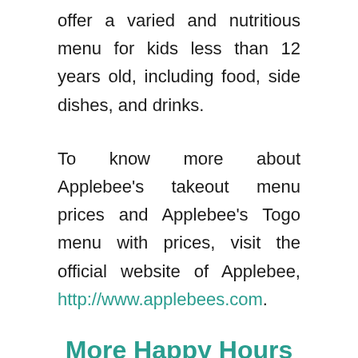offer a varied and nutritious menu for kids less than 12 years old, including food, side dishes, and drinks.
To know more about Applebee's takeout menu prices and Applebee's Togo menu with prices, visit the official website of Applebee, http://www.applebees.com.
More Happy Hours
Everyday – 3:00 PM thru 6:00 PM
Drinks$1 Drafts, $2 Margaritas, Bahama Mama's, Long Island's